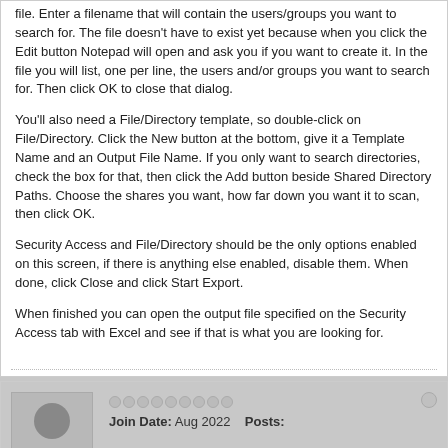file. Enter a filename that will contain the users/groups you want to search for. The file doesn't have to exist yet because when you click the Edit button Notepad will open and ask you if you want to create it. In the file you will list, one per line, the users and/or groups you want to search for. Then click OK to close that dialog.
You'll also need a File/Directory template, so double-click on File/Directory. Click the New button at the bottom, give it a Template Name and an Output File Name. If you only want to search directories, check the box for that, then click the Add button beside Shared Directory Paths. Choose the shares you want, how far down you want it to scan, then click OK.
Security Access and File/Directory should be the only options enabled on this screen, if there is anything else enabled, disable them. When done, click Close and click Start Export.
When finished you can open the output file specified on the Security Access tab with Excel and see if that is what you are looking for.
[Figure (photo): User avatar placeholder with silhouette of a person]
Join Date: Aug 2022    Posts:
11-27-2006, 03:07 PM
#2